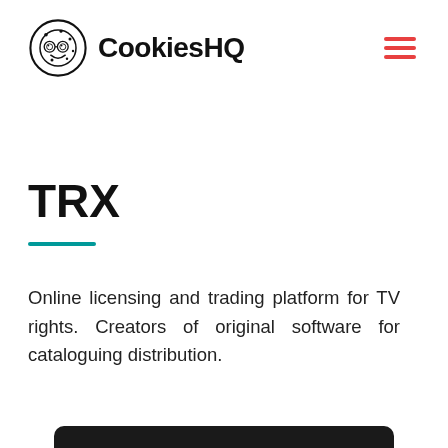[Figure (logo): CookiesHQ logo: circular cookie character with glasses and text CookiesHQ in bold, with hamburger menu icon in red on the right]
TRX
Online licensing and trading platform for TV rights. Creators of original software for cataloguing distribution.